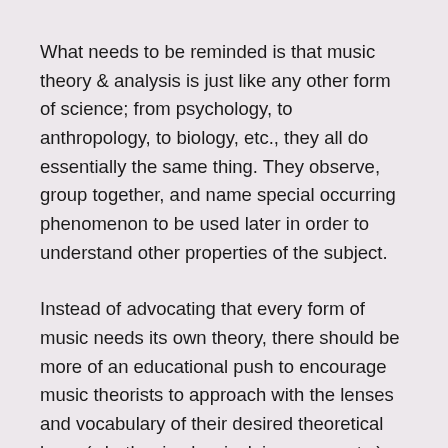What needs to be reminded is that music theory & analysis is just like any other form of science; from psychology, to anthropology, to biology, etc., they all do essentially the same thing. They observe, group together, and name special occurring phenomenon to be used later in order to understand other properties of the subject.
Instead of advocating that every form of music needs its own theory, there should be more of an educational push to encourage music theorists to approach with the lenses and vocabulary of their desired theoretical base (whether in classical, jazz, pop, etc.), and make new rules to understand what makes a particular genre sound that way.